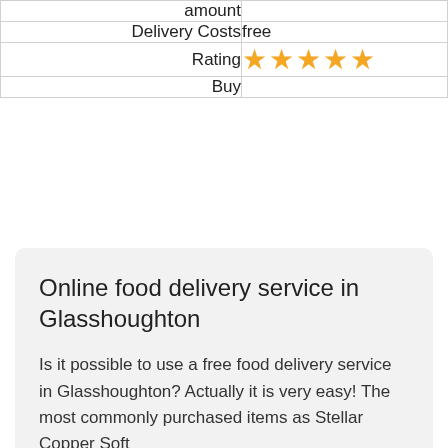| amount |  |
| Delivery Costs | free |
| Rating | ★★★★★ |
| Buy |  |
Online food delivery service in Glasshoughton
Is it possible to use a free food delivery service in Glasshoughton? Actually it is very easy! The most commonly purchased items as Stellar Copper Soft